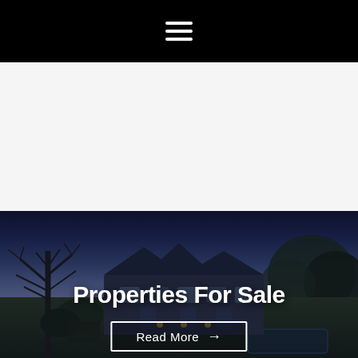[Figure (screenshot): Black navigation bar with white hamburger menu icon (three horizontal lines) centered at top]
[Figure (photo): Dusk photo of a large Victorian-style property surrounded by trees, with purple/blue twilight sky, green lawn in foreground and a pool. Text overlay reads 'Properties For Sale' with a 'Read More →' button below.]